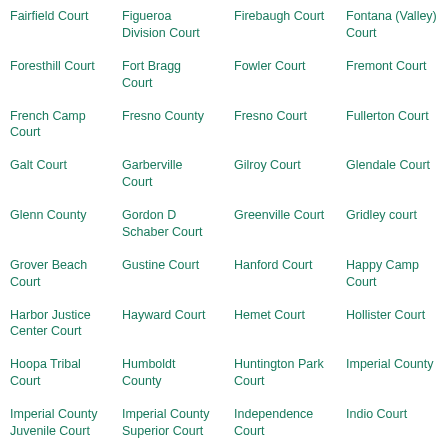Fairfield Court
Figueroa Division Court
Firebaugh Court
Fontana (Valley) Court
Foresthill Court
Fort Bragg Court
Fowler Court
Fremont Court
French Camp Court
Fresno County
Fresno Court
Fullerton Court
Galt Court
Garberville Court
Gilroy Court
Glendale Court
Glenn County
Gordon D Schaber Court
Greenville Court
Gridley court
Grover Beach Court
Gustine Court
Hanford Court
Happy Camp Court
Harbor Justice Center Court
Hayward Court
Hemet Court
Hollister Court
Hoopa Tribal Court
Humboldt County
Huntington Park Court
Imperial County
Imperial County Juvenile Court
Imperial County Superior Court
Independence Court
Indio Court
Inglewood Court
Inyo County
Isleton Court
Jackson Court